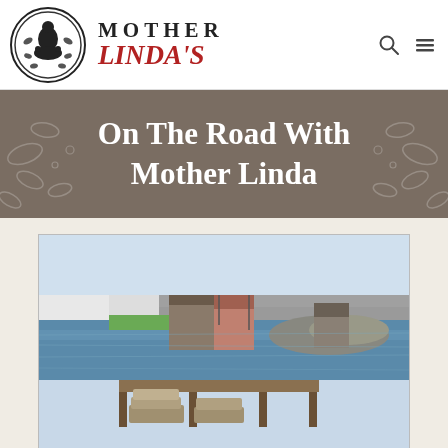MOTHER LINDA'S
On The Road With Mother Linda
[Figure (photo): A coastal fishing village scene with small colorful wooden shacks and buildings on a rocky shoreline, boats on blue water in the background, lobster traps stacked on a wooden dock in the foreground.]